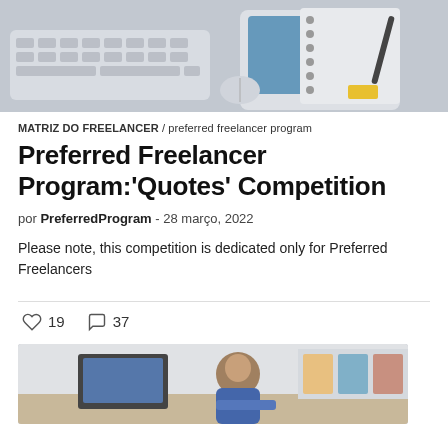[Figure (photo): Top banner photo showing a keyboard, tablet or notebook with pen, shot from above on a desk surface — grey-toned flatlay]
MATRIZ DO FREELANCER / preferred freelancer program
Preferred Freelancer Program:'Quotes' Competition
por PreferredProgram - 28 março, 2022
Please note, this competition is dedicated only for Preferred Freelancers
♡ 19   ○ 37
[Figure (photo): Bottom photo showing a man working at a desk with a monitor or computer equipment in an office/home setting]